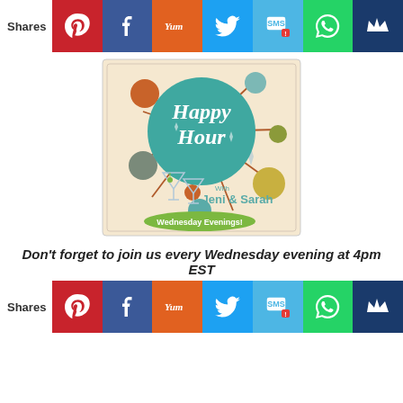Shares [social sharing bar with Pinterest, Facebook, Yummly, Twitter, SMS, WhatsApp, Crown icons]
[Figure (illustration): Happy Hour promotional illustration with mid-century modern design. Large teal circle with 'Happy Hour' in white script lettering, decorative colored dots (orange, teal, olive, gray), starburst lines, two martini glasses, text 'With Jeni & Sarah' and 'Wednesday Evenings!' on a cream/beige background with subtle border.]
Don't forget to join us every Wednesday evening at 4pm EST
Shares [social sharing bar with Pinterest, Facebook, Yummly, Twitter, SMS, WhatsApp, Crown icons]